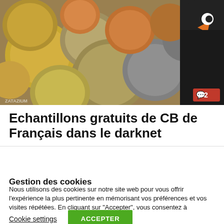[Figure (photo): Close-up photo of various euro coins scattered together, with a cartoon penguin character partially visible in the upper right corner. A red comment badge showing '2' is in the lower right of the image.]
Echantillons gratuits de CB de Français dans le darknet
Gestion des cookies
Nous utilisons des cookies sur notre site web pour vous offrir l'expérience la plus pertinente en mémorisant vos préférences et vos visites répétées. En cliquant sur "Accepter", vous consentez à l'utilisation de ces cookies.
Cookie settings | ACCEPTER